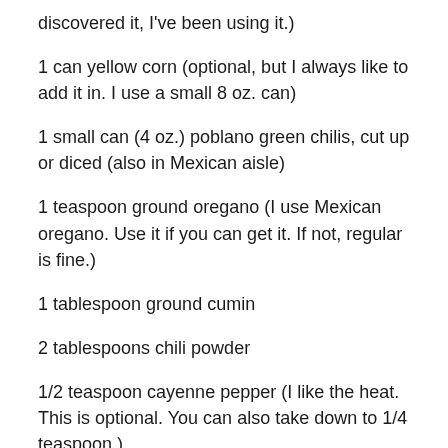discovered it, I've been using it.)
1 can yellow corn (optional, but I always like to add it in. I use a small 8 oz. can)
1 small can (4 oz.) poblano green chilis, cut up or diced (also in Mexican aisle)
1 teaspoon ground oregano (I use Mexican oregano. Use it if you can get it. If not, regular is fine.)
1 tablespoon ground cumin
2 tablespoons chili powder
1/2 teaspoon cayenne pepper (I like the heat. This is optional. You can also take down to 1/4 teaspoon.)
1 teaspoon kosher salt (then you will taste for additional